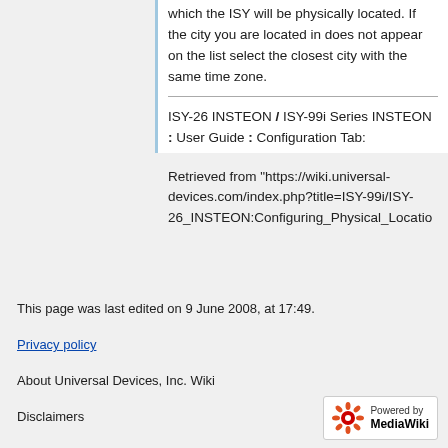which the ISY will be physically located. If the city you are located in does not appear on the list select the closest city with the same time zone.
ISY-26 INSTEON / ISY-99i Series INSTEON : User Guide : Configuration Tab:
Retrieved from "https://wiki.universal-devices.com/index.php?title=ISY-99i/ISY-26_INSTEON:Configuring_Physical_Locatio
This page was last edited on 9 June 2008, at 17:49.
Privacy policy
About Universal Devices, Inc. Wiki
Disclaimers